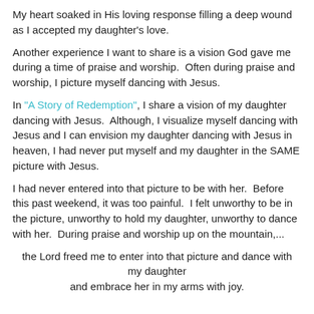My heart soaked in His loving response filling a deep wound as I accepted my daughter's love.
Another experience I want to share is a vision God gave me during a time of praise and worship.  Often during praise and worship, I picture myself dancing with Jesus.
In "A Story of Redemption", I share a vision of my daughter dancing with Jesus.  Although, I visualize myself dancing with Jesus and I can envision my daughter dancing with Jesus in heaven, I had never put myself and my daughter in the SAME picture with Jesus.
I had never entered into that picture to be with her.  Before this past weekend, it was too painful.  I felt unworthy to be in the picture, unworthy to hold my daughter, unworthy to dance with her.  During praise and worship up on the mountain,...
the Lord freed me to enter into that picture and dance with my daughter
and embrace her in my arms with joy.